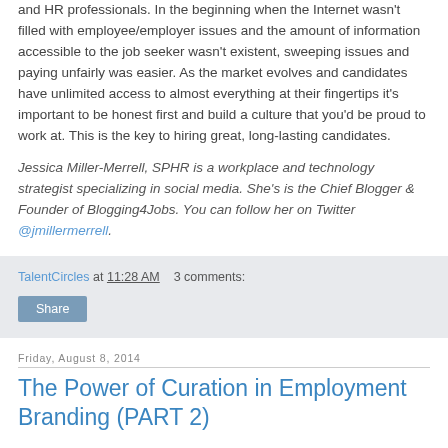and HR professionals. In the beginning when the Internet wasn't filled with employee/employer issues and the amount of information accessible to the job seeker wasn't existent, sweeping issues and paying unfairly was easier. As the market evolves and candidates have unlimited access to almost everything at their fingertips it's important to be honest first and build a culture that you'd be proud to work at. This is the key to hiring great, long-lasting candidates.
Jessica Miller-Merrell, SPHR is a workplace and technology strategist specializing in social media. She's is the Chief Blogger & Founder of Blogging4Jobs. You can follow her on Twitter @jmillermerrell.
TalentCircles at 11:28 AM   3 comments:
Share
Friday, August 8, 2014
The Power of Curation in Employment Branding (PART 2)